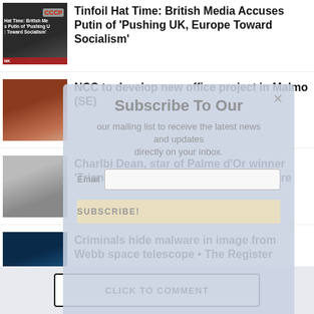[Figure (screenshot): News article thumbnail: dark image with USSR logo and red banner text about 'Tinfoil Hat Time']
Tinfoil Hat Time: British Media Accuses Putin of 'Pushing UK, Europe Toward Socialism'
[Figure (photo): News article thumbnail: brick building exterior photo]
NCC to develop new office project in Malmo (SE)
[Figure (photo): News article thumbnail: woman in white dress at event]
Charlbi Dean, star of Palme d'Or winner 'Triangle of Sadness,' dies at 32 | Culture
[Figure (photo): News article thumbnail: night sky image]
Criminals hide malware in image from Webb space telescope • The Register
[Figure (screenshot): Modal overlay: Subscribe To Our newsletter popup with email input and SUBSCRIBE button, and close X button]
Subscribe To Our
our mailing list to receive the latest news and updates directly on your inbox.
Email
SUBSCRIBE!
CLICK TO COMMENT